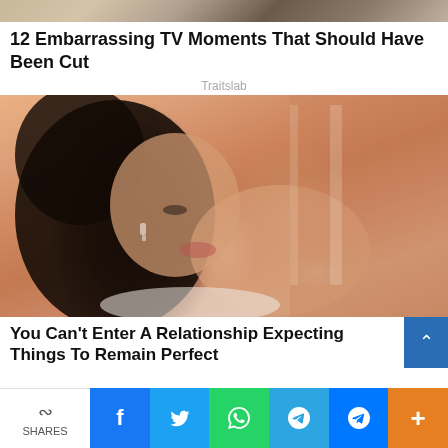[Figure (photo): Cropped top portion of a photo showing people in casual clothing, partially cut off at top of page]
12 Embarrassing TV Moments That Should Have Been Cut
Traitslab
[Figure (photo): Young woman with long dark hair and bangs, wearing a white top with a small earring, posed with arm raised, warm orange-toned background with a door]
You Can't Enter A Relationship Expecting Things To Remain Perfect
SHARES | f | Twitter | WhatsApp | Telegram | Messenger | +